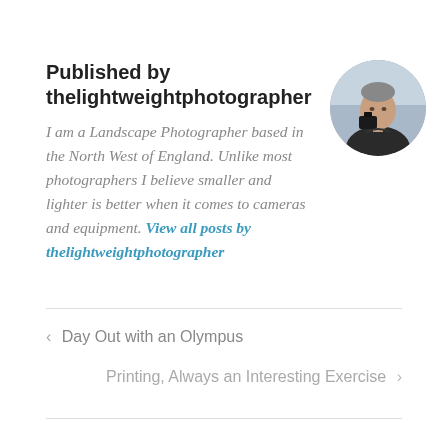Published by thelightweightphotographer
[Figure (photo): Circular avatar photo of a man with a camera, grey background]
I am a Landscape Photographer based in the North West of England. Unlike most photographers I believe smaller and lighter is better when it comes to cameras and equipment. View all posts by thelightweightphotographer
‹  Day Out with an Olympus
Printing, Always an Interesting Exercise  ›